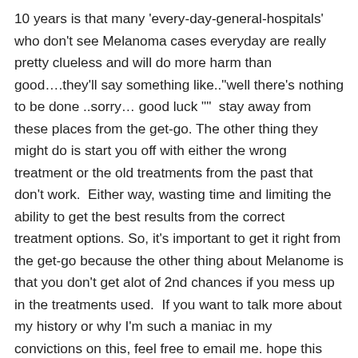10 years is that many 'every-day-general-hospitals' who don't see Melanoma cases everyday are really pretty clueless and will do more harm than good….they'll say something like.."well there's nothing to be done ..sorry… good luck ""  stay away from these places from the get-go. The other thing they might do is start you off with either the wrong treatment or the old treatments from the past that don't work.  Either way, wasting time and limiting the ability to get the best results from the correct treatment options. So, it's important to get it right from the get-go because the other thing about Melanome is that you don't get alot of 2nd chances if you mess up in the treatments used.  If you want to talk more about my history or why I'm such a maniac in my convictions on this, feel free to email me. hope this helps.   Peter